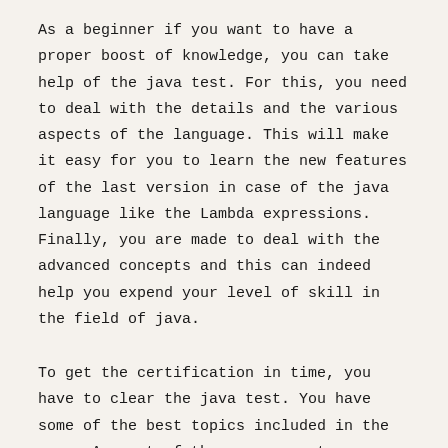As a beginner if you want to have a proper boost of knowledge, you can take help of the java test. For this, you need to deal with the details and the various aspects of the language. This will make it easy for you to learn the new features of the last version in case of the java language like the Lambda expressions. Finally, you are made to deal with the advanced concepts and this can indeed help you expend your level of skill in the field of java.
To get the certification in time, you have to clear the java test. You have some of the best topics included in the exam. As part of the arrangement, you can deal with the java basics